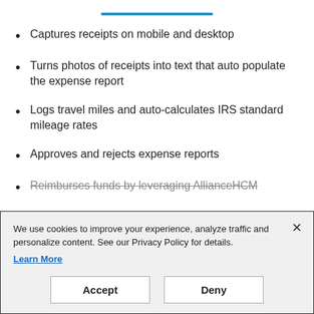Captures receipts on mobile and desktop
Turns photos of receipts into text that auto populate the expense report
Logs travel miles and auto-calculates IRS standard mileage rates
Approves and rejects expense reports
Reimburses funds by leveraging AllianceHCM
We use cookies to improve your experience, analyze traffic and personalize content. See our Privacy Policy for details. Learn More
Accept | Deny